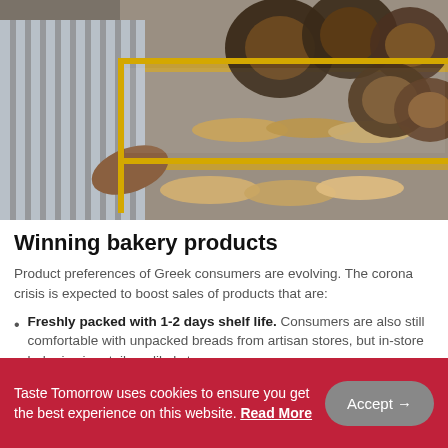[Figure (photo): A vendor in a striped shirt reaching into a glass display case filled with stacked round bread rings and flatbreads at an outdoor bakery stall with a yellow frame.]
Winning bakery products
Product preferences of Greek consumers are evolving. The corona crisis is expected to boost sales of products that are:
Freshly packed with 1-2 days shelf life. Consumers are also still comfortable with unpacked breads from artisan stores, but in-store bakeries in retail are likely to
Taste Tomorrow uses cookies to ensure you get the best experience on this website. Read More
Accept →